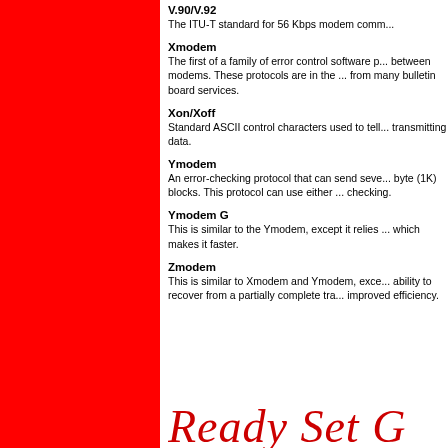V.90/V.92
The ITU-T standard for 56 Kbps modem comm...
Xmodem
The first of a family of error control software p... between modems. These protocols are in the ... from many bulletin board services.
Xon/Xoff
Standard ASCII control characters used to tell... transmitting data.
Ymodem
An error-checking protocol that can send seve... byte (1K) blocks. This protocol can use either ... checking.
Ymodem G
This is similar to the Ymodem, except it relies ... which makes it faster.
Zmodem
This is similar to Xmodem and Ymodem, exce... ability to recover from a partially complete tra... improved efficiency.
[Figure (logo): Ready Set Go logo text in red italic serif font]